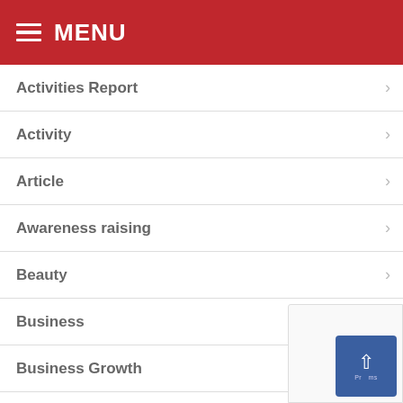MENU
Activities Report
Activity
Article
Awareness raising
Beauty
Business
Business Growth
Cases Report
Fashion